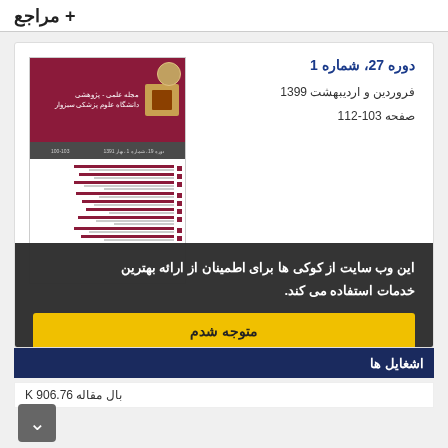+ مراجع
دوره 27، شماره 1
فروردین و اردیبهشت 1399
صفحه 103-112
[Figure (illustration): Cover image of a Persian medical journal - Majalle Elmi Pajooheshi Daneshgah Olom Pezeshki Sabzevar]
این وب سایت از کوکی ها برای اطمینان از ارائه بهترین خدمات استفاده می کند.
متوجه شدم
اشغایل ها
بال مقاله K 906.76